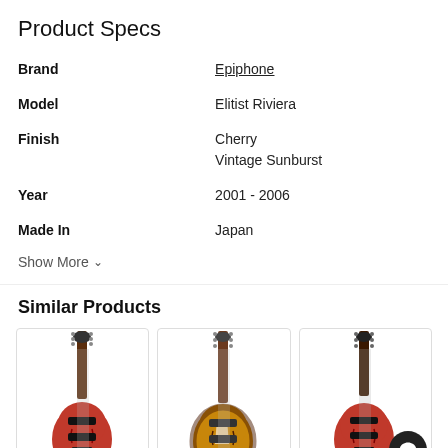Product Specs
|  |  |
| --- | --- |
| Brand | Epiphone |
| Model | Elitist Riviera |
| Finish | Cherry
Vintage Sunburst |
| Year | 2001 - 2006 |
| Made In | Japan |
Show More
Similar Products
[Figure (photo): Red semi-hollow electric guitar (12-string style) in product card]
[Figure (photo): Sunburst semi-hollow electric guitar in product card]
[Figure (photo): Partially visible red/black electric guitar in product card (cropped)]